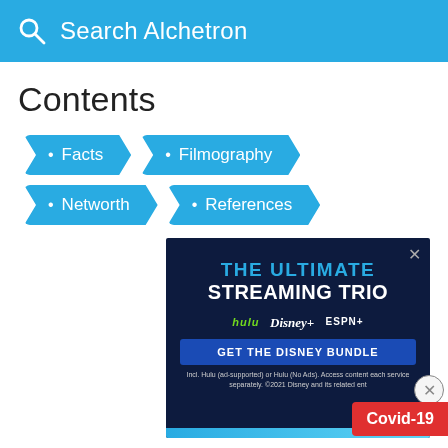Search Alchetron
Contents
• Facts
• Filmography
• Networth
• References
[Figure (screenshot): Advertisement banner: THE ULTIMATE STREAMING TRIO — Hulu, Disney+, ESPN+. GET THE DISNEY BUNDLE. Incl. Hulu (ad-supported) or Hulu (No Ads). Access content each service separately. ©2021 Disney and its related ent.]
Covid-19